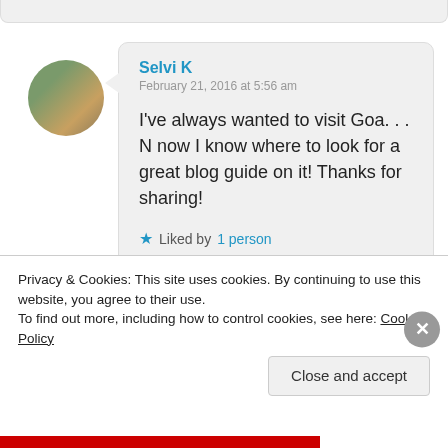[Figure (photo): Circular avatar photo of commenter Selvi K, showing a person outdoors with greenery]
Selvi K
February 21, 2016 at 5:56 am
I've always wanted to visit Goa. . . N now I know where to look for a great blog guide on it! Thanks for sharing!
Liked by 1 person
Reply
[Figure (photo): Circular avatar photo of a second commenter, showing a person with greenery background]
Privacy & Cookies: This site uses cookies. By continuing to use this website, you agree to their use.
To find out more, including how to control cookies, see here: Cookie Policy
Close and accept